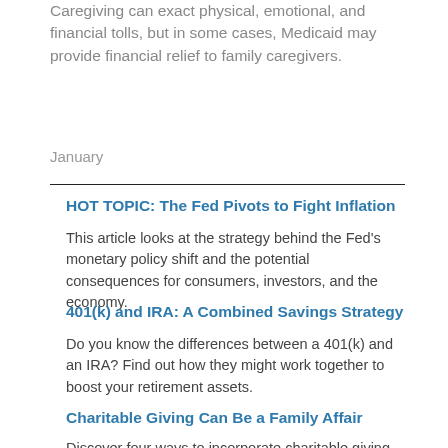Caregiving can exact physical, emotional, and financial tolls, but in some cases, Medicaid may provide financial relief to family caregivers.
January
HOT TOPIC: The Fed Pivots to Fight Inflation
This article looks at the strategy behind the Fed's monetary policy shift and the potential consequences for consumers, investors, and the economy.
401(k) and IRA: A Combined Savings Strategy
Do you know the differences between a 401(k) and an IRA? Find out how they might work together to boost your retirement assets.
Charitable Giving Can Be a Family Affair
Discover four ways to incorporate charitable giving into an overall financial plan that fulfills a family's